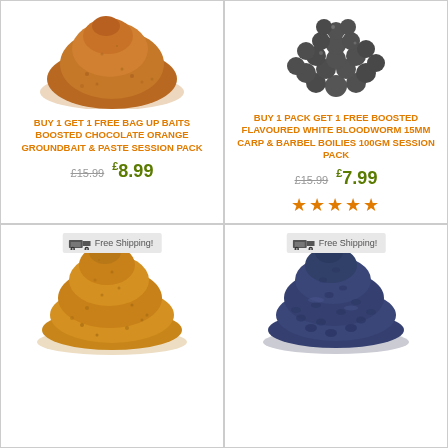[Figure (photo): Pile of brown chocolate orange groundbait powder]
BUY 1 GET 1 FREE BAG UP BAITS BOOSTED CHOCOLATE ORANGE GROUNDBAIT & PASTE SESSION PACK
£15.99  £8.99
[Figure (photo): Dark grey boilies (round balls) for carp and barbel fishing]
BUY 1 PACK GET 1 FREE BOOSTED FLAVOURED WHITE BLOODWORM 15MM CARP & BARBEL BOILIES 100GM SESSION PACK
£15.99  £7.99
★★★★★
Free Shipping!
[Figure (photo): Pile of golden/amber coloured fishing micro pellets]
Free Shipping!
[Figure (photo): Pile of dark blue/navy fishing pellets]